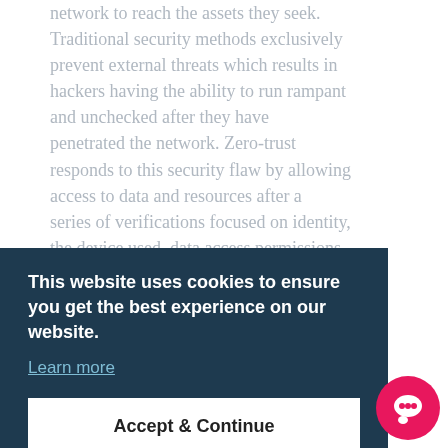network to reach the assets they seek. Traditional security methods exclusively prevent external threats which results in hackers having the ability to run rampant and unchecked after they have penetrated the network. Zero-trust responds to this security flaw by allowing access to data and resources after a series of verifications focused on identity, the device used, data access permissions and gateway. These factors are used to verify every device that attempts to join … nsive data … ernal and external threats … The timeline and complexity of implementing the strategy depends on … the magnitude of the MOD's data infrastructure, size of the user population
This website uses cookies to ensure you get the best experience on our website.
Learn more
Accept & Continue